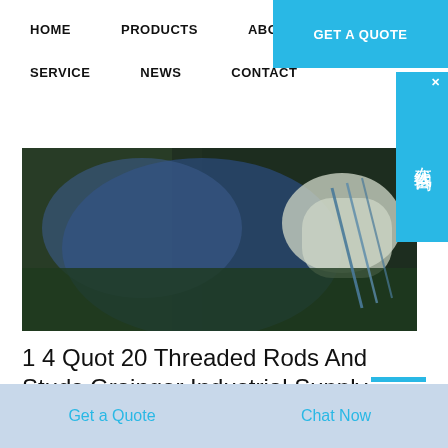HOME   PRODUCTS   ABOUT   SERVICE   NEWS   CONTACT
[Figure (photo): Industrial worker in blue protective suit working with metal rods or studs in a manufacturing setting]
1 4 Quot 20 Threaded Rods And Studs Grainger Industrial Supply
Get a Quote   Chat Now